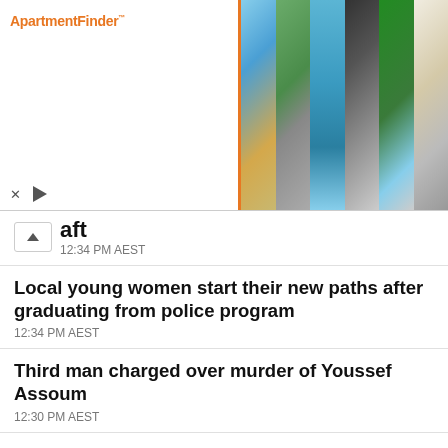[Figure (photo): Advertisement banner for ApartmentFinder with logo on left and 6 apartment photos on right]
aft
12:34 PM AEST
Local young women start their new paths after graduating from police program
12:34 PM AEST
Third man charged over murder of Youssef Assoum
12:30 PM AEST
Police appeal to locate woman missing from Northern Beaches
12:30 PM AEST
Government should consider extending work rights of foreign students
12:30 PM AEST